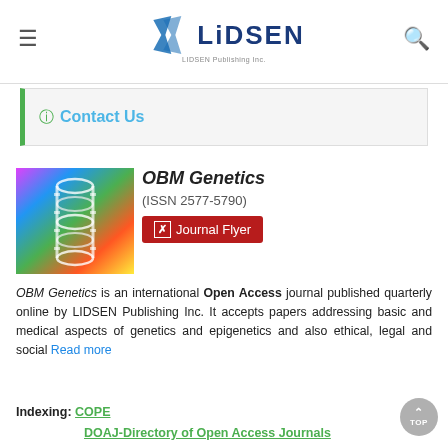LIDSEN Publishing Inc. — navigation header with logo, hamburger menu, and search icon
Contact Us
[Figure (photo): DNA double helix structure on colorful background — journal cover image for OBM Genetics]
OBM Genetics
(ISSN 2577-5790)
Journal Flyer
OBM Genetics is an international Open Access journal published quarterly online by LIDSEN Publishing Inc. It accepts papers addressing basic and medical aspects of genetics and epigenetics and also ethical, legal and social Read more
Indexing: COPE DOAJ-Directory of Open Access Journals Scopus Google Scholar
Archiving: full-text archived in CLOCKSS.
Rapid publication: manuscripts are undertaken in 15.0 days from acceptance to publication (median values for papers published in this journal in the second half of 2021, 1-2